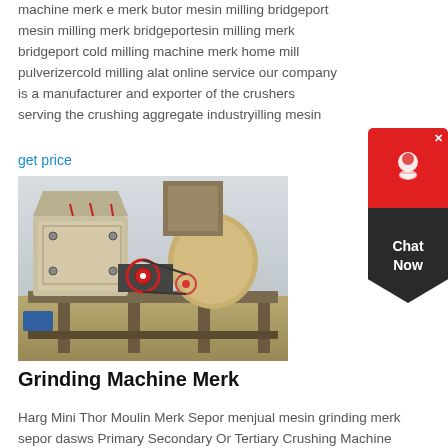machine merk e merk butor mesin milling bridgeport mesin milling merk bridgeportesin milling merk bridgeport cold milling machine merk home mill pulverizercold milling alat online service our company is a manufacturer and exporter of the crushers serving the crushing aggregate industryilling mesin
get price
[Figure (photo): Outdoor industrial grinding/crushing machine on a platform with support columns, photographed in an outdoor setting.]
Grinding Machine Merk
Harg Mini Thor Moulin Merk Sepor menjual mesin grinding merk sepor dasws Primary Secondary Or Tertiary Crushing Machine